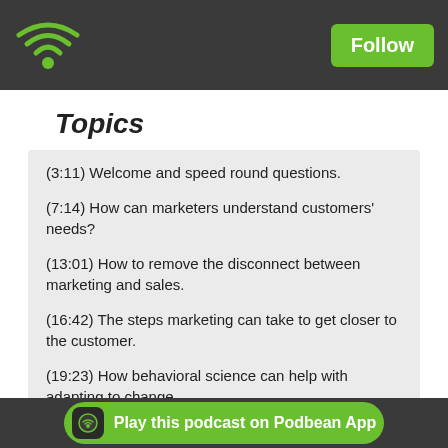Podbean header with wifi logo and Follow button
Topics
(3:11) Welcome and speed round questions.
(7:14) How can marketers understand customers' needs?
(13:01) How to remove the disconnect between marketing and sales.
(16:42) The steps marketing can take to get closer to the customer.
(19:23) How behavioral science can help with adapting to change.
Play this podcast on Podbean App